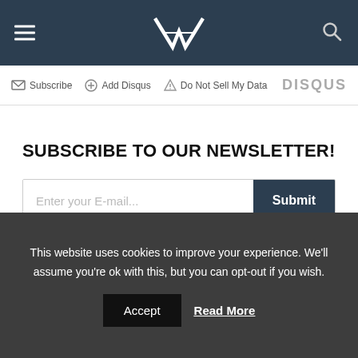VR (logo with navigation bar)
Subscribe  Add Disqus  Do Not Sell My Data  DISQUS
SUBSCRIBE TO OUR NEWSLETTER!
Enter your E-mail...  Submit
This website uses cookies to improve your experience. We'll assume you're ok with this, but you can opt-out if you wish.
Accept  Read More